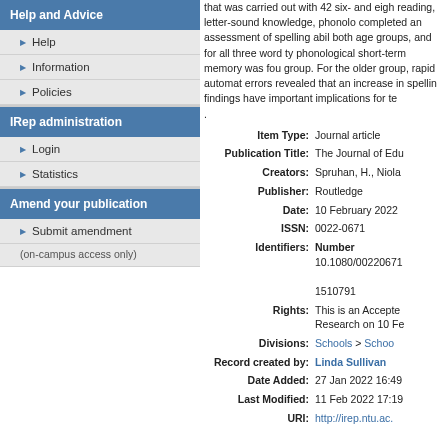Help and Advice
Help
Information
Policies
IRep administration
Login
Statistics
Amend your publication
Submit amendment
(on-campus access only)
that was carried out with 42 six- and eigh reading, letter-sound knowledge, phonolo completed an assessment of spelling abil both age groups, and for all three word ty phonological short-term memory was fou group. For the older group, rapid automat errors revealed that an increase in spellin findings have important implications for te .
| Field | Value |
| --- | --- |
| Item Type: | Journal article |
| Publication Title: | The Journal of Edu |
| Creators: | Spruhan, H., Niola |
| Publisher: | Routledge |
| Date: | 10 February 2022 |
| ISSN: | 0022-0671 |
| Identifiers: | Number
10.1080/00220671
1510791 |
| Rights: | This is an Accepte Research on 10 Fe |
| Divisions: | Schools > Schoo |
| Record created by: | Linda Sullivan |
| Date Added: | 27 Jan 2022 16:49 |
| Last Modified: | 11 Feb 2022 17:19 |
| URI: | http://irep.ntu.ac. |